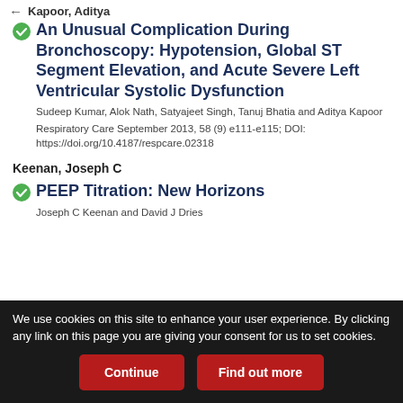Kapoor, Aditya
An Unusual Complication During Bronchoscopy: Hypotension, Global ST Segment Elevation, and Acute Severe Left Ventricular Systolic Dysfunction
Sudeep Kumar, Alok Nath, Satyajeet Singh, Tanuj Bhatia and Aditya Kapoor
Respiratory Care September 2013, 58 (9) e111-e115; DOI: https://doi.org/10.4187/respcare.02318
Keenan, Joseph C
PEEP Titration: New Horizons
Joseph C Keenan and David J Dries
We use cookies on this site to enhance your user experience. By clicking any link on this page you are giving your consent for us to set cookies.
Continue
Find out more